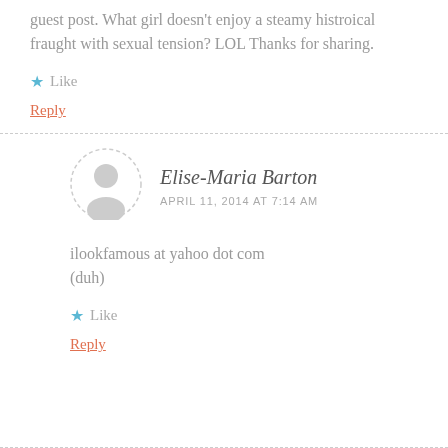guest post. What girl doesn't enjoy a steamy histroical fraught with sexual tension? LOL Thanks for sharing.
★ Like
Reply
Elise-Maria Barton
APRIL 11, 2014 AT 7:14 AM
ilookfamous at yahoo dot com
(duh)
★ Like
Reply